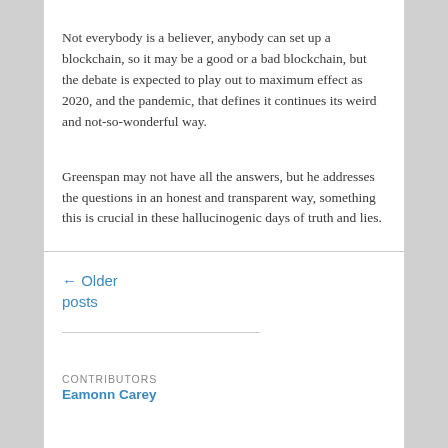Not everybody is a believer, anybody can set up a blockchain, so it may be a good or a bad blockchain, but the debate is expected to play out to maximum effect as 2020, and the pandemic, that defines it continues its weird and not-so-wonderful way.
Greenspan may not have all the answers, but he addresses the questions in an honest and transparent way, something this is crucial in these hallucinogenic days of truth and lies.
← Older posts
CONTRIBUTORS
Eamonn Carey